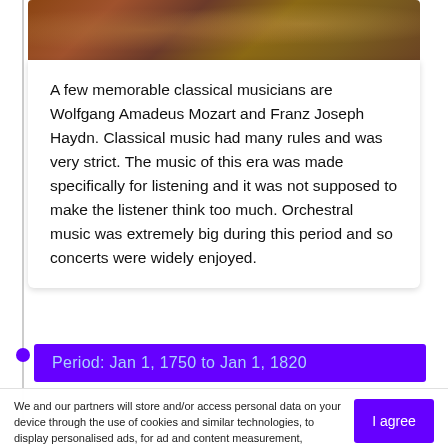[Figure (photo): Partial view of a classical painting showing historical figures in ornate clothing against a dark background]
A few memorable classical musicians are Wolfgang Amadeus Mozart and Franz Joseph Haydn. Classical music had many rules and was very strict. The music of this era was made specifically for listening and it was not supposed to make the listener think too much. Orchestral music was extremely big during this period and so concerts were widely enjoyed.
Period: Jan 1, 1750 to Jan 1, 1820
We and our partners will store and/or access personal data on your device through the use of cookies and similar technologies, to display personalised ads, for ad and content measurement, audience insights and product development.

By clicking 'I agree,' you consent to this, or you can manage your preferences.